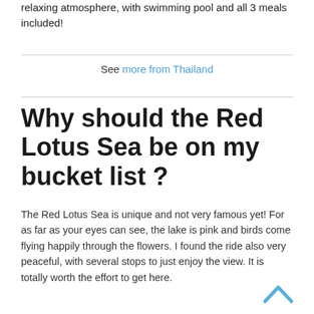relaxing atmosphere, with swimming pool and all 3 meals included!
See more from Thailand
Why should the Red Lotus Sea be on my bucket list ?
The Red Lotus Sea is unique and not very famous yet! For as far as your eyes can see, the lake is pink and birds come flying happily through the flowers. I found the ride also very peaceful, with several stops to just enjoy the view. It is totally worth the effort to get here.